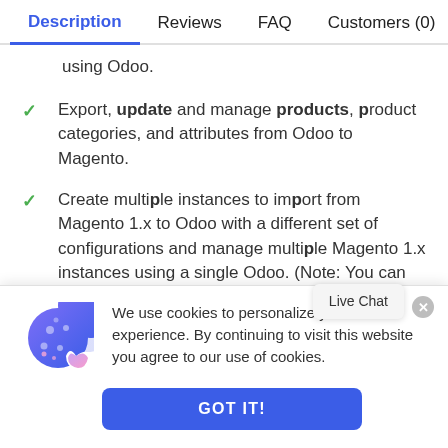Description  Reviews  FAQ  Customers (0)
using Odoo.
Export, update and manage products, product categories, and attributes from Odoo to Magento.
Create multiple instances to import from Magento 1.x to Odoo with a different set of configurations and manage multiple Magento 1.x instances using a single Odoo. (Note: You can integrate up to thre
We use cookies to personalize your experience. By continuing to visit this website you agree to our use of cookies.
GOT IT!